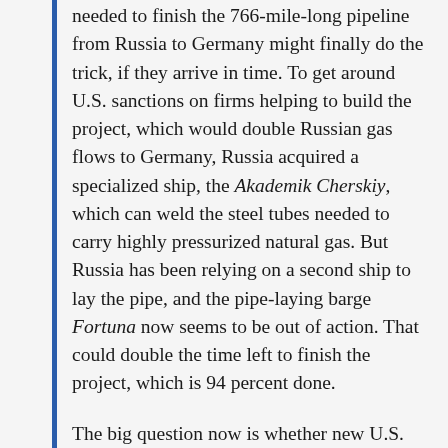needed to finish the 766-mile-long pipeline from Russia to Germany might finally do the trick, if they arrive in time. To get around U.S. sanctions on firms helping to build the project, which would double Russian gas flows to Germany, Russia acquired a specialized ship, the Akademik Cherskiy, which can weld the steel tubes needed to carry highly pressurized natural gas. But Russia has been relying on a second ship to lay the pipe, and the pipe-laying barge Fortuna now seems to be out of action. That could double the time left to finish the project, which is 94 percent done.
The big question now is whether new U.S. sanctions contained in this year's defense spending bill can be passed and signed into law before the project is completed.